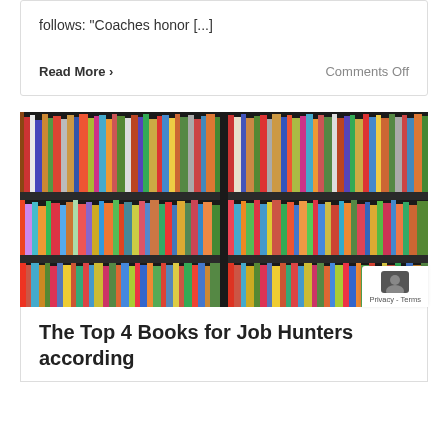follows: “Coaches honor […]
Read More ›
Comments Off
[Figure (photo): Photo of a bookshelf with many colorful books arranged on dark shelves, shown in two panels side by side.]
The Top 4 Books for Job Hunters according